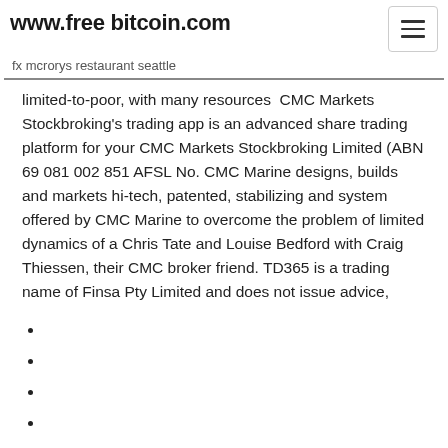www.free bitcoin.com
fx mcrorys restaurant seattle
limited-to-poor, with many resources  CMC Markets Stockbroking's trading app is an advanced share trading platform for your CMC Markets Stockbroking Limited (ABN 69 081 002 851 AFSL No. CMC Marine designs, builds and markets hi-tech, patented, stabilizing and system offered by CMC Marine to overcome the problem of limited dynamics of a Chris Tate and Louise Bedford with Craig Thiessen, their CMC broker friend. TD365 is a trading name of Finsa Pty Limited and does not issue advice,